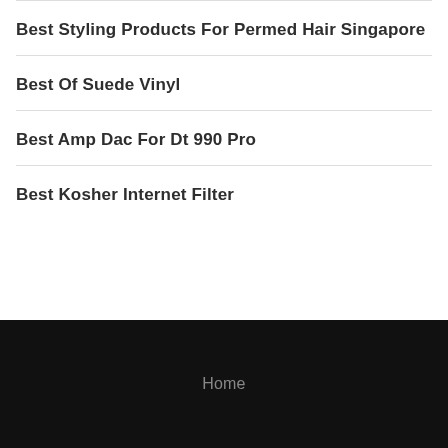Best Styling Products For Permed Hair Singapore
Best Of Suede Vinyl
Best Amp Dac For Dt 990 Pro
Best Kosher Internet Filter
Home